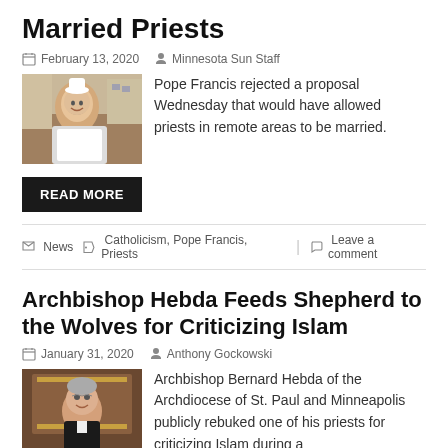Married Priests
February 13, 2020   Minnesota Sun Staff
[Figure (photo): Photo of Pope Francis smiling outdoors]
Pope Francis rejected a proposal Wednesday that would have allowed priests in remote areas to be married.
READ MORE
News   Catholicism, Pope Francis, Priests   Leave a comment
Archbishop Hebda Feeds Shepherd to the Wolves for Criticizing Islam
January 31, 2020   Anthony Gockowski
[Figure (photo): Photo of Archbishop Bernard Hebda]
Archbishop Bernard Hebda of the Archdiocese of St. Paul and Minneapolis publicly rebuked one of his priests for criticizing Islam during a recent homily.